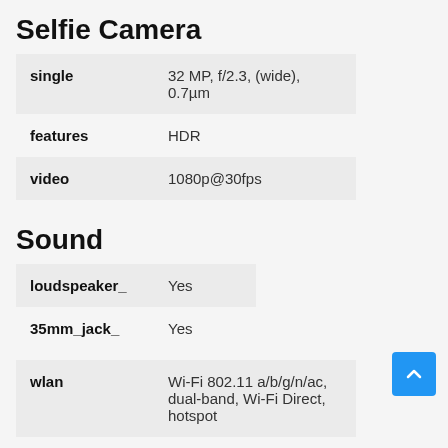Selfie Camera
| single | 32 MP, f/2.3, (wide), 0.7µm |
| features | HDR |
| video | 1080p@30fps |
Sound
| loudspeaker_ | Yes |
| 35mm_jack_ | Yes |
| wlan | Wi-Fi 802.11 a/b/g/n/ac, dual-band, Wi-Fi Direct, hotspot |
| bluetooth | 5.0, A2DP, LE |